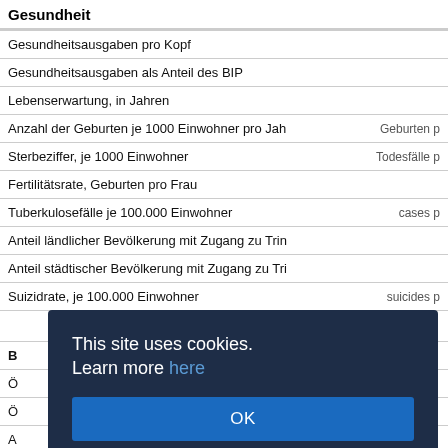Gesundheit
|  |  |
| --- | --- |
| Gesundheitsausgaben pro Kopf |  |
| Gesundheitsausgaben als Anteil des BIP |  |
| Lebenserwartung, in Jahren |  |
| Anzahl der Geburten je 1000 Einwohner pro Jahr | Geburten p |
| Sterbeziffer, je 1000 Einwohner | Todesfälle p |
| Fertilitätsrate, Geburten pro Frau |  |
| Tuberkulosefälle je 100.000 Einwohner | cases p |
| Anteil ländlicher Bevölkerung mit Zugang zu Trinkwasser |  |
| Anteil städtischer Bevölkerung mit Zugang zu Trinkwasser |  |
| Suizidrate, je 100.000 Einwohner | suicides p |
|  |  |
| B… |  |
| Ö… |  |
| Ö… |  |
| A… |  |
| Weibliche Alphabetisierungsquote, 15-24 Jahre |  |
[Figure (screenshot): Cookie consent dialog overlay with dark navy background reading 'This site uses cookies. Learn more here' and an OK button in blue.]